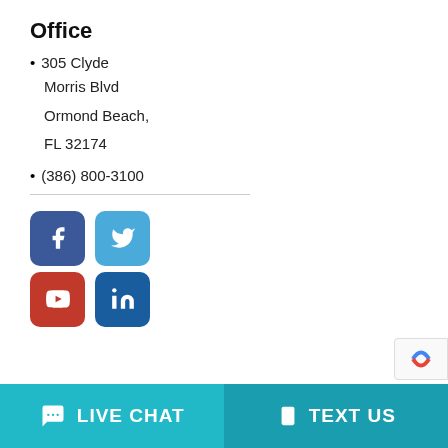Office
• 305 Clyde
Morris Blvd
Ormond Beach,
FL 32174
• (386) 800-3100
[Figure (infographic): Social media icons: Facebook (dark blue), Twitter (light blue), YouTube (red), LinkedIn (dark blue)]
LIVE CHAT   TEXT US